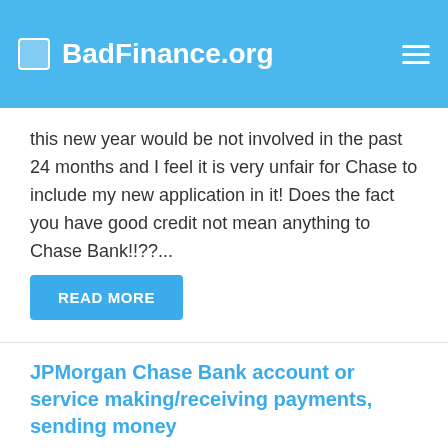BadFinance.org
this new year would be not involved in the past 24 months and I feel it is very unfair for Chase to include my new application in it! Does the fact you have good credit not mean anything to Chase Bank!!??...
READ MORE
JPMorgan Chase Bank account or service making/receiving payments, sending money
December 31, 2015 - I had made a deposit into my account with Jp Morgan Chase Bank and a third party that had my account number and routing number went into my account without my permission